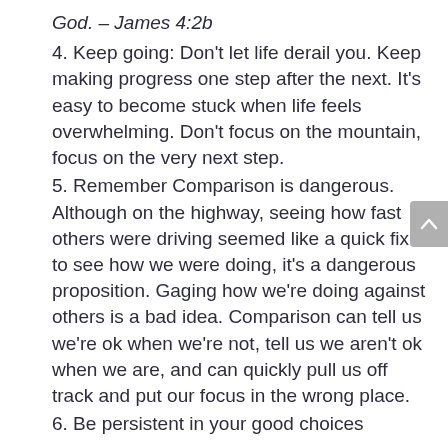God. – James 4:2b
4. Keep going: Don't let life derail you. Keep making progress one step after the next. It's easy to become stuck when life feels overwhelming. Don't focus on the mountain, focus on the very next step.
5. Remember Comparison is dangerous. Although on the highway, seeing how fast others were driving seemed like a quick fix to see how we were doing, it's a dangerous proposition. Gaging how we're doing against others is a bad idea. Comparison can tell us we're ok when we're not, tell us we aren't ok when we are, and can quickly pull us off track and put our focus in the wrong place.
6. Be persistent in your good choices